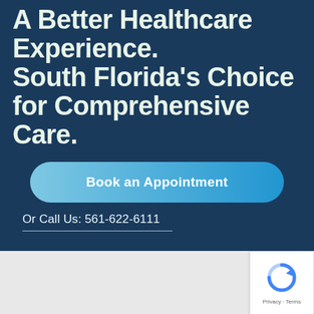A Better Healthcare Experience. South Florida's Choice for Comprehensive Care.
Book an Appointment
Or Call Us: 561-622-6111
Signup for Newsletter
[Figure (logo): Accessibility icon - circle with person symbol]
[Figure (logo): reCAPTCHA badge with Privacy and Terms text]